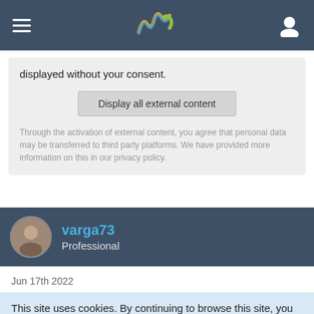Navigation bar with hamburger menu, logo, and user icon
displayed without your consent.
Display all external content
Through the activation of external content, you agree that personal data may be transferred to third party platforms. We have provided more information on this in our privacy policy.
varga73
Professional
Jun 17th 2022
This site uses cookies. By continuing to browse this site, you are agreeing to our use of cookies.
More Details  Close